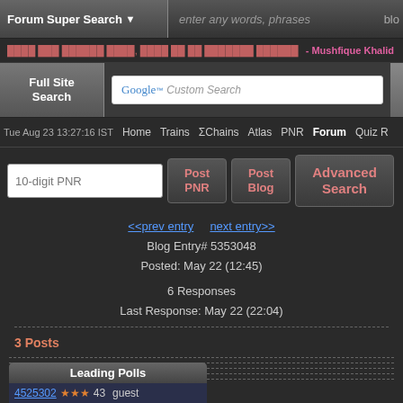Forum Super Search | enter any words, phrases | blo
- Mushfique Khalid
Full Site Search | Google Custom Search | Full Site Search
Tue Aug 23 13:27:16 IST   Home   Trains   ΣChains   Atlas   PNR   Forum   Quiz R
10-digit PNR | Post PNR | Post Blog | Advanced Search
<<prev entry   next entry>>
Blog Entry# 5353048
Posted: May 22 (12:45)
6 Responses
Last Response: May 22 (22:04)
3 Posts
Leading Polls
4525302 ★★★ 43   guest